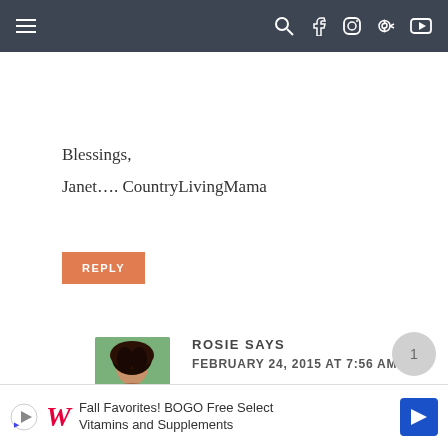Navigation bar with hamburger menu and social icons
Blessings,
Janet.... CountryLivingMama
REPLY
ROSIE SAYS
FEBRUARY 24, 2015 AT 7:56 AM
Hi Janet! I do have a video for it, I just added it to the post. I can't believe that I forgot to do that! :-/. Thank
Fall Favorites! BOGO Free Select Vitamins and Supplements